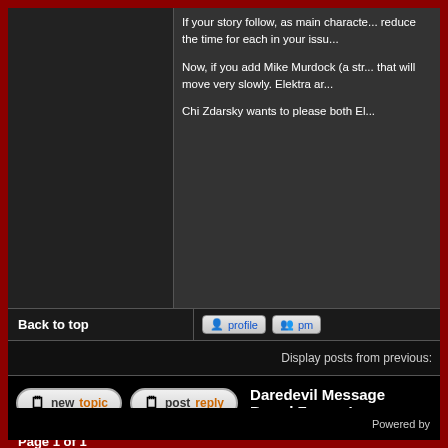If your story follow, as main character... reduce the time for each in your issu...
Now, if you add Mike Murdock (a str... that will move very slowly. Elektra ar...
Chi Zdarsky wants to please both El...
Back to top
[Figure (screenshot): Profile button with orange person icon]
[Figure (screenshot): PM button with orange people icons]
Display posts from previous:
[Figure (screenshot): New topic button]
[Figure (screenshot): Post reply button]
Daredevil Message Board Forum I...
Page 1 of 1
Powered by